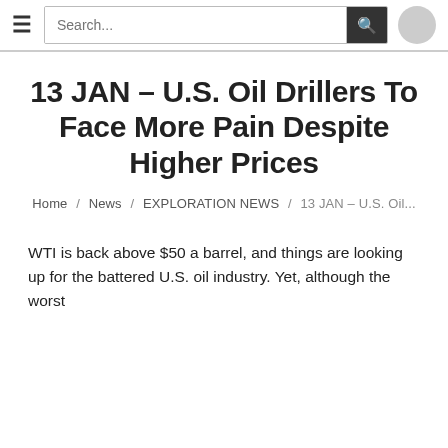☰  Search...  🔍
13 JAN – U.S. Oil Drillers To Face More Pain Despite Higher Prices
Home / News / EXPLORATION NEWS / 13 JAN – U.S. Oil...
WTI is back above $50 a barrel, and things are looking up for the battered U.S. oil industry. Yet, although the worst